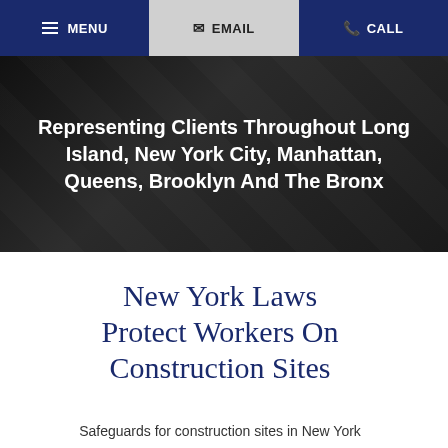MENU | EMAIL | CALL
Representing Clients Throughout Long Island, New York City, Manhattan, Queens, Brooklyn And The Bronx
New York Laws Protect Workers On Construction Sites
Safeguards for construction sites in New York